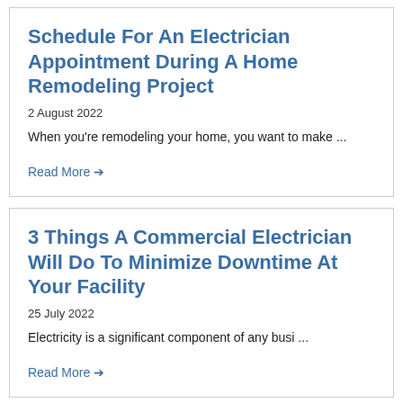Schedule For An Electrician Appointment During A Home Remodeling Project
2 August 2022
When you're remodeling your home, you want to make ...
Read More →
3 Things A Commercial Electrician Will Do To Minimize Downtime At Your Facility
25 July 2022
Electricity is a significant component of any busi ...
Read More →